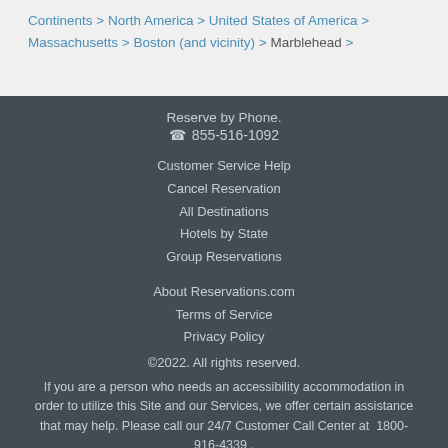Continents > North America > United States of America > Massachusetts > Boston (and vicinity) > Marblehead >
Reserve by Phone.
☎ 855-516-1092
Customer Service Help
Cancel Reservation
All Destinations
Hotels by State
Group Reservations
About Reservations.com
Terms of Service
Privacy Policy
©2022. All rights reserved.
If you are a person who needs an accessibility accommodation in order to utilize this Site and our Services, we offer certain assistance that may help. Please call our 24/7 Customer Call Center at  1800-916-4339 .